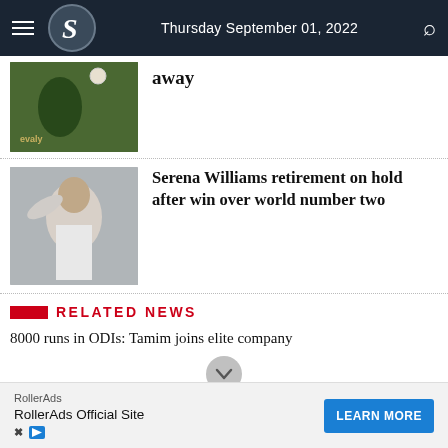Thursday September 01, 2022
[Figure (photo): Cricket player in Bangladesh green-red jersey holding a ball, partially visible article image]
away
[Figure (photo): Serena Williams in white outfit waving to crowd at Wimbledon]
Serena Williams retirement on hold after win over world number two
RELATED NEWS
8000 runs in ODIs: Tamim joins elite company
[Figure (other): Advertisement banner: RollerAds Official Site with LEARN MORE button]